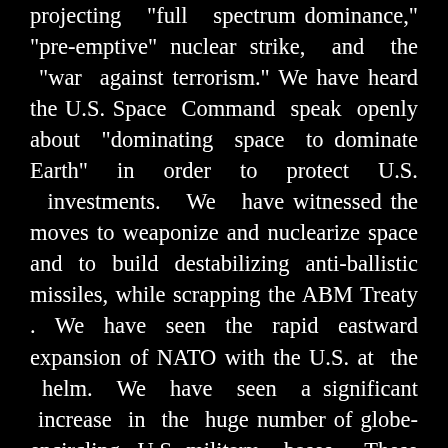projecting "full spectrum dominance," "pre-emptive" nuclear strike, and the "war against terrorism." We have heard the U.S. Space Command speak openly about "dominating space to dominate Earth" in order to protect U.S. investments. We have witnessed the moves to weaponize and nuclearize space and to build destabilizing anti-ballistic missiles, while scrapping the ABM Treaty . We have seen the rapid eastward expansion of NATO with the U.S. at the helm. We have seen a significant increase in the huge number of globe-encircling U.S. military bases. These new installations are strategically located near oil fields and pipeline routes, particularly in Central Asia, Georgia, Afghanistan, and the